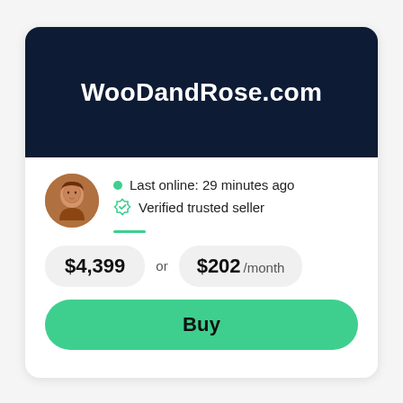WooDandRose.com
Last online: 29 minutes ago
Verified trusted seller
$4,399 or $202 /month
Buy